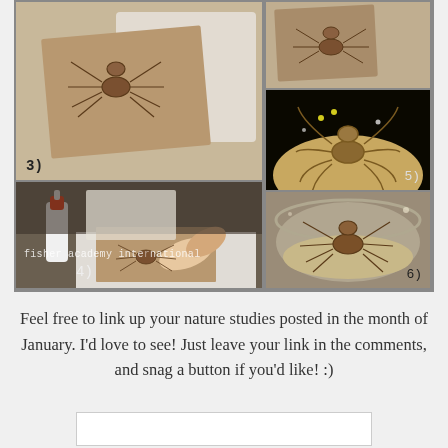[Figure (photo): Six-panel photo collage showing steps of a spider art/nature study project. Photos labeled 3-6: step 3 shows a spider drawing on brown paper; step 4 shows a child using glue on the project; step 5 shows a pinned spider specimen on board with pins and light; step 6 shows a spider in a glass container. Watermark reads 'fisher academy international'.]
Feel free to link up your nature studies posted in the month of January. I'd love to see! Just leave your link in the comments, and snag a button if you'd like! :)